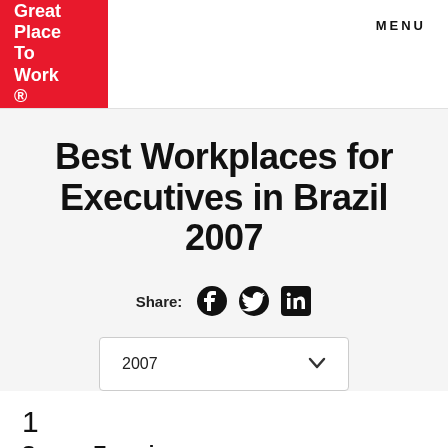[Figure (logo): Great Place To Work logo - white text on red background]
MENU
Best Workplaces for Executives in Brazil 2007
Share:
2007
1
Serasa Experian